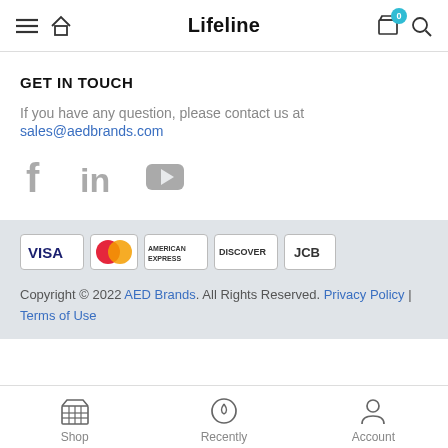Lifeline
GET IN TOUCH
If you have any question, please contact us at
sales@aedbrands.com
[Figure (other): Social media icons: Facebook, LinkedIn, YouTube (gray)]
[Figure (other): Payment method icons: VISA, Mastercard, American Express, Discover, JCB]
Copyright © 2022 AED Brands. All Rights Reserved. Privacy Policy | Terms of Use
Shop | Recently | Account